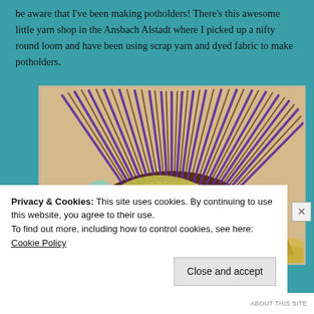be aware that I've been making potholders! There's this awesome little yarn shop in the Ansbach Alstadt where I picked up a nifty round loom and have been using scrap yarn and dyed fabric to make potholders.
[Figure (photo): A round loom with purple pegs/spokes and colorful woven fabric/yarn being woven into a potholder on the loom]
Privacy & Cookies: This site uses cookies. By continuing to use this website, you agree to their use.
To find out more, including how to control cookies, see here: Cookie Policy
Close and accept